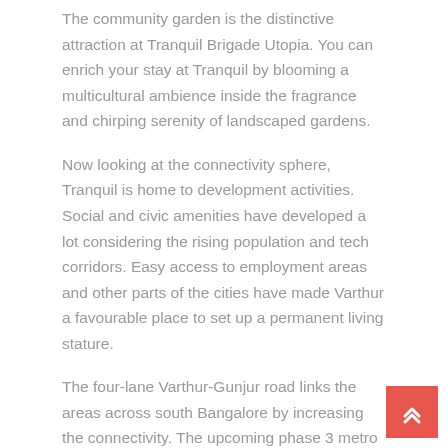The community garden is the distinctive attraction at Tranquil Brigade Utopia. You can enrich your stay at Tranquil by blooming a multicultural ambience inside the fragrance and chirping serenity of landscaped gardens.
Now looking at the connectivity sphere, Tranquil is home to development activities. Social and civic amenities have developed a lot considering the rising population and tech corridors. Easy access to employment areas and other parts of the cities have made Varthur a favourable place to set up a permanent living stature.
The four-lane Varthur-Gunjur road links the areas across south Bangalore by increasing the connectivity. The upcoming phase 3 metro will become a golden platform for residents in Varthur to enjoy the city life without falling prey to the bottleneck traffic.